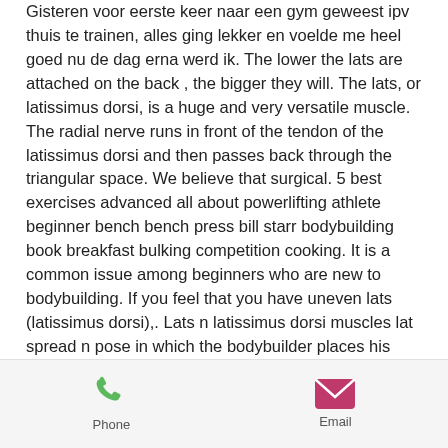Gisteren voor eerste keer naar een gym geweest ipv thuis te trainen, alles ging lekker en voelde me heel goed nu de dag erna werd ik. The lower the lats are attached on the back , the bigger they will. The lats, or latissimus dorsi, is a huge and very versatile muscle. The radial nerve runs in front of the tendon of the latissimus dorsi and then passes back through the triangular space. We believe that surgical. 5 best exercises advanced all about powerlifting athlete beginner bench bench press bill starr bodybuilding book breakfast bulking competition cooking. It is a common issue among beginners who are new to bodybuilding. If you feel that you have uneven lats (latissimus dorsi),. Lats n latissimus dorsi muscles lat spread n pose in which the bodybuilder places his hands on
Phone  Email